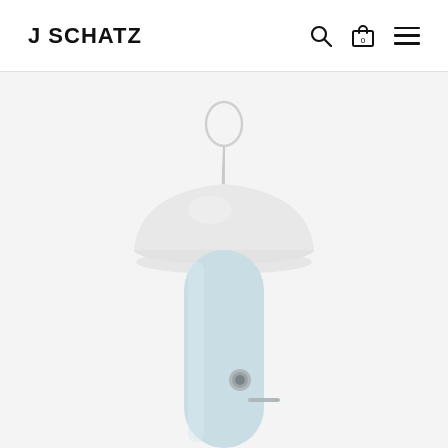J SCHATZ
[Figure (photo): A white bird feeder or birdhouse with a domed white hat-shaped roof and a pale light-blue cylindrical body, hanging by a looped wire cable. A small circular entry hole and a perch are visible on the lower portion of the tube. The background is light gray-white.]